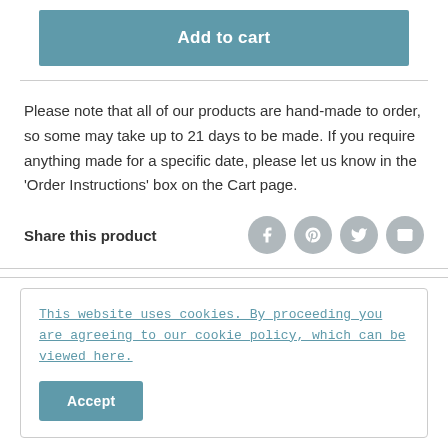Add to cart
Please note that all of our products are hand-made to order, so some may take up to 21 days to be made. If you require anything made for a specific date, please let us know in the 'Order Instructions' box on the Cart page.
Share this product
[Figure (other): Social sharing icons: Facebook, Pinterest, Twitter, Email — circular grey buttons]
This website uses cookies. By proceeding you are agreeing to our cookie policy, which can be viewed here.
Accept
known as the 'evening emerald' as it resembles emerald when